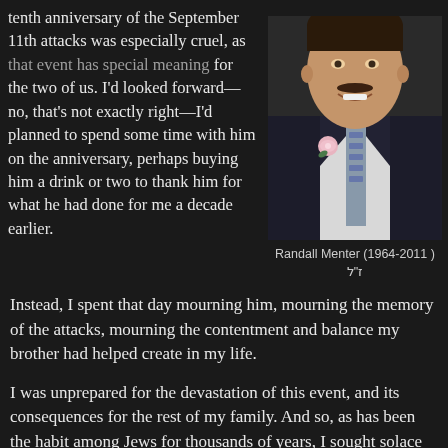tenth anniversary of the September 11th attacks was especially cruel, as that event has special meaning for the two of us. I'd looked forward—no, that's not exactly right—I'd planned to spend some time with him on the anniversary, perhaps buying him a drink or two to thank him for what he had done for me a decade earlier.
[Figure (photo): Portrait photo of a man in a dark suit with a patterned tie and pink boutonniere, smiling, with a mustache.]
Randall Menter (1964-2011 ) ז"ל
Instead, I spent that day mourning him, mourning the memory of the attacks, mourning the contentment and balance my brother had helped create in my life.
I was unprepared for the devastation of this event, and its consequences for the rest of my family. And so, as has been the habit among Jews for thousands of years, I sought solace and guidance in the experiences of generations past.